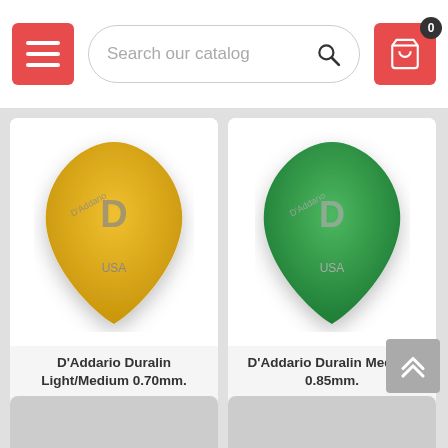[Figure (screenshot): Navigation header with hamburger menu button (red), search bar with placeholder 'Search our catalog', and shopping cart button (red) with badge showing 0]
[Figure (photo): Yellow D'Addario guitar pick with D logo and USA text]
D'Addario Duralin Light/Medium 0.70mm.
€0.40
AVAILABLE
[Figure (photo): Green D'Addario guitar pick with D logo and USA text]
D'Addario Duralin Medium 0.85mm.
€0.40
AVAILABLE